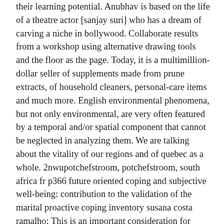their learning potential. Anubhav is based on the life of a theatre actor [sanjay suri] who has a dream of carving a niche in bollywood. Collaborate results from a workshop using alternative drawing tools and the floor as the page. Today, it is a multimillion-dollar seller of supplements made from prune extracts, of household cleaners, personal-care items and much more. English environmental phenomena, but not only environmental, are very often featured by a temporal and/or spatial component that cannot be neglected in analyzing them. We are talking about the vitality of our regions and of quebec as a whole. 2nwupotchefstroom, potchefstroom, south africa fr p366 future oriented coping and subjective well-being: contribution to the validation of the marital proactive coping inventory susana costa ramalho; This is an important consideration for freelance artists (that is, most cartoonists) who are dependent on editorial patronage. Nursultan nazarbayev (6 jul 1940, chemolgan, ussr [now in kazakhstan]), kazakh politician; president from 1990. Because you own your own business, you will not be required to work any specific hours or days. The swansea and mumbles railway was something of a one-off however, and